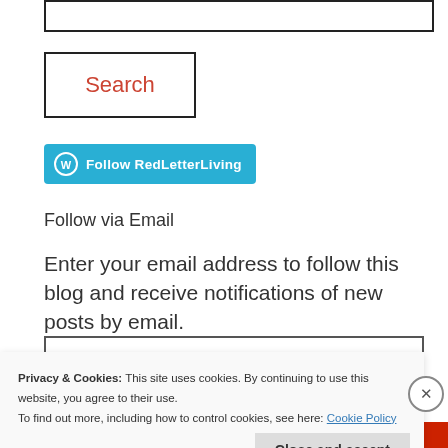[Figure (screenshot): Search text input box (empty, with border)]
[Figure (screenshot): Search button with red text label 'Search' inside a bordered box]
[Figure (screenshot): WordPress Follow button in teal/blue with WordPress logo icon and text 'Follow RedLetterLiving']
Follow via Email
Enter your email address to follow this blog and receive notifications of new posts by email.
[Figure (screenshot): Email address input field with placeholder text 'Enter your email address']
Privacy & Cookies: This site uses cookies. By continuing to use this website, you agree to their use.
To find out more, including how to control cookies, see here: Cookie Policy
[Figure (screenshot): Close and accept button and X dismiss button for cookie banner]
The best stories on the web — shared and everyone else is it